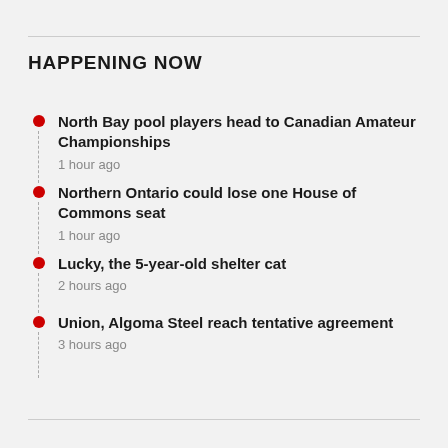HAPPENING NOW
North Bay pool players head to Canadian Amateur Championships
1 hour ago
Northern Ontario could lose one House of Commons seat
1 hour ago
Lucky, the 5-year-old shelter cat
2 hours ago
Union, Algoma Steel reach tentative agreement
3 hours ago